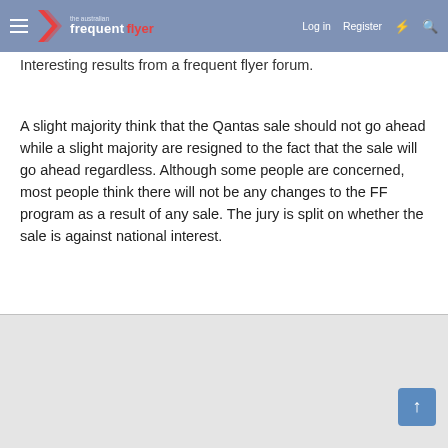The Australian Frequent Flyer — Log in | Register
Interesting results from a frequent flyer forum.
A slight majority think that the Qantas sale should not go ahead while a slight majority are resigned to the fact that the sale will go ahead regardless. Although some people are concerned, most people think there will not be any changes to the FF program as a result of any sale. The jury is split on whether the sale is against national interest.